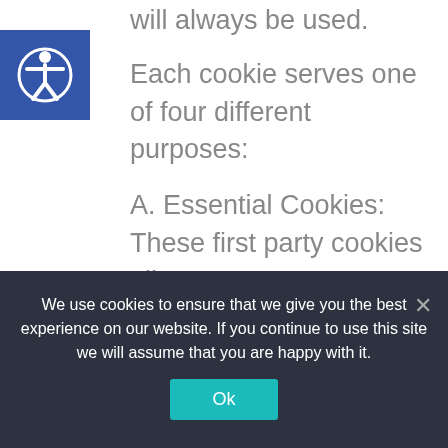will always be used.
Each cookie serves one of four different purposes:
A. Essential Cookies: These first party cookies allow users to use certain feature of the website such as staying logged in.
B. Analytics Cookies: These cookies track information about how our website is being used so that we can
We use cookies to ensure that we give you the best experience on our website. If you continue to use this site we will assume that you are happy with it.